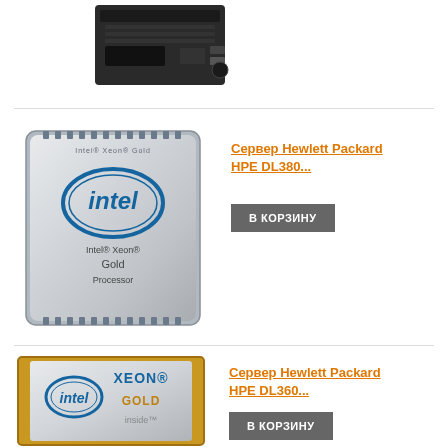[Figure (photo): Top of page: partial view of a server product image (dark tower server, cut off)]
[Figure (photo): Intel Xeon Gold Processor chip image - silver chip with Intel logo and text 'Intel Xeon Gold Processor']
Сервер Hewlett Packard HPE DL380...
В КОРЗИНУ
[Figure (photo): Intel Xeon Gold inside chip image - gold-bordered silver chip with Intel logo and XEON GOLD inside text]
Сервер Hewlett Packard HPE DL360...
В КОРЗИНУ